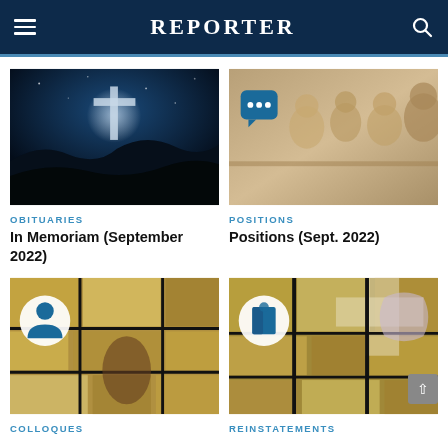REPORTER
[Figure (photo): A glowing cross silhouetted against a dark night sky with dark foreground hills]
OBITUARIES
In Memoriam (September 2022)
[Figure (photo): Sepia-toned photo of people in conversation, with a blue speech bubble icon overlay]
POSITIONS
Positions (Sept. 2022)
[Figure (photo): Sepia-toned stained glass window background with a white circle containing a blue person silhouette icon]
COLLOQUES
[Figure (photo): Sepia-toned stained glass window background with a white circle containing a blue book/document icon]
REINSTATEMENTS